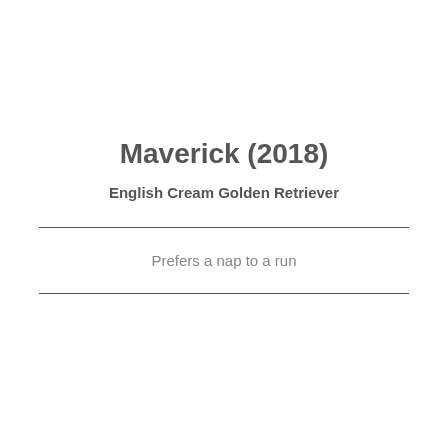Maverick (2018)
English Cream Golden Retriever
Prefers a nap to a run